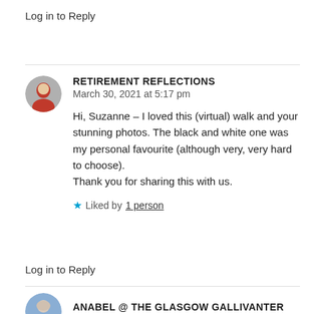Log in to Reply
RETIREMENT REFLECTIONS
March 30, 2021 at 5:17 pm

Hi, Suzanne – I loved this (virtual) walk and your stunning photos. The black and white one was my personal favourite (although very, very hard to choose).
Thank you for sharing this with us.

★ Liked by 1 person
Log in to Reply
ANABEL @ THE GLASGOW GALLIVANTER